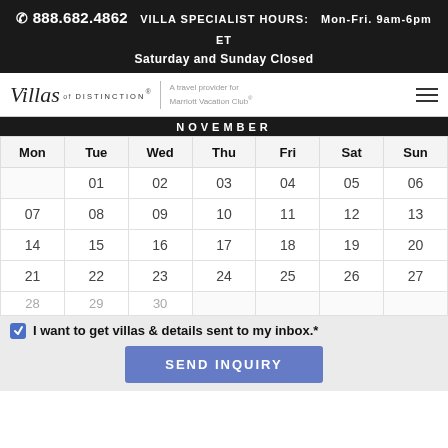📞 888.682.4862  VILLA SPECIALIST HOURS:  Mon-Fri. 9am-6pm ET
Saturday and Sunday Closed
[Figure (logo): Villas of Distinction logo with tagline 'A travel provider for Marriott Vacation Club®' and hamburger menu icon]
NOVEMBER
| Mon | Tue | Wed | Thu | Fri | Sat | Sun |
| --- | --- | --- | --- | --- | --- | --- |
|  | 01 | 02 | 03 | 04 | 05 | 06 |
| 07 | 08 | 09 | 10 | 11 | 12 | 13 |
| 14 | 15 | 16 | 17 | 18 | 19 | 20 |
| 21 | 22 | 23 | 24 | 25 | 26 | 27 |
| 28 | 29 | 30 |  |  |  |  |
I want to get villas & details sent to my inbox.*
SEND INQUIRY